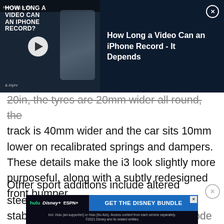[Figure (screenshot): Video player ad banner for 'How Long a Video Can an iPhone Record - It Depends' with thumbnail showing a person holding a phone on a gimbal, a play button overlay, and Alphr logo. Dark navy background.]
20in, the tyres are 20mm wider all round, the track is 40mm wider and the car sits 10mm lower on recalibrated springs and dampers. These details make the i3 look slightly more purposeful, along with a subtly redesigned front bumper.
Other sport additions include altered steering, updates to the traction and stability controls, and a 'sport' driving mode which increases
[Figure (screenshot): Disney Bundle advertisement banner showing Hulu, Disney+, ESPN+ logos and 'GET THE DISNEY BUNDLE' call-to-action button with fine print about ad-supported tiers and ©2021 Disney.]